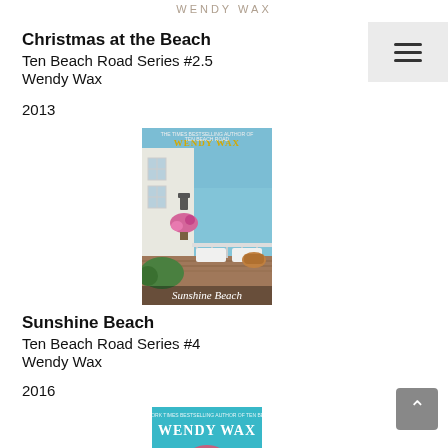WENDY WAX
Christmas at the Beach
Ten Beach Road Series #2.5
Wendy Wax
2013
[Figure (photo): Book cover for Sunshine Beach by Wendy Wax showing a coastal porch scene with ocean view, flowers, and white furniture]
Sunshine Beach
Ten Beach Road Series #4
Wendy Wax
2016
[Figure (photo): Partial book cover for another Wendy Wax book showing blue cover with author name]